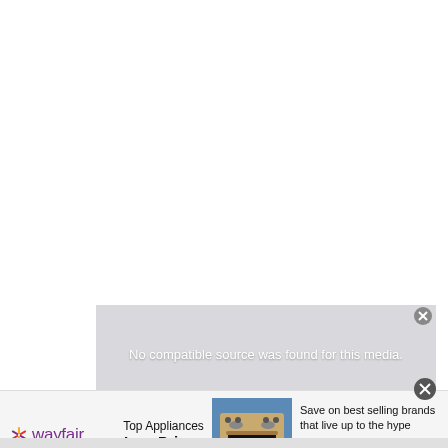[Figure (screenshot): White empty area representing a web page content area]
[Figure (screenshot): Video player overlay showing error message: No compatible source was found for this media. Background shows partial text SHOULD WE... with a close button.]
[Figure (screenshot): Wayfair advertisement banner: Wayfair logo, Top Appliances Low Prices text, image of a kitchen range/stove, text Save on best selling brands that live up to the hype, Shop now button]